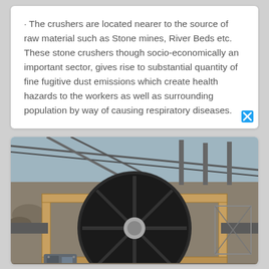· The crushers are located nearer to the source of raw material such as Stone mines, River Beds etc. These stone crushers though socio-economically an important sector, gives rise to substantial quantity of fine fugitive dust emissions which create health hazards to the workers as well as surrounding population by way of causing respiratory diseases.
[Figure (photo): Photograph of a stone crusher machine at an outdoor quarry/mining site, showing a large cylindrical drum crusher mounted on a wooden frame structure, with conveyor belts and other mining equipment visible in the background. A motor unit is visible at the bottom left.]